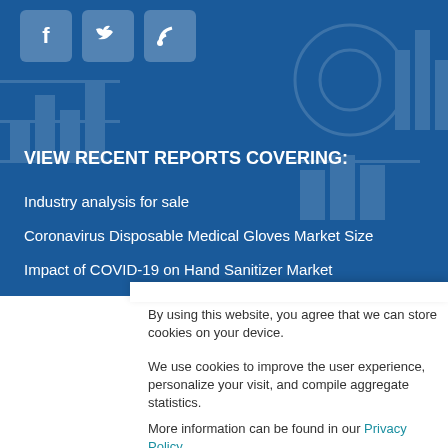[Figure (illustration): Social media icons: Facebook, Twitter, RSS feed on a blue background with faint chart/graph watermark patterns]
VIEW RECENT REPORTS COVERING:
Industry analysis for sale
Coronavirus Disposable Medical Gloves Market Size
Impact of COVID-19 on Hand Sanitizer Market
COVID-19 - Coronavirus
By using this website, you agree that we can store cookies on your device.
We use cookies to improve the user experience, personalize your visit, and compile aggregate statistics.
More information can be found in our Privacy Policy .